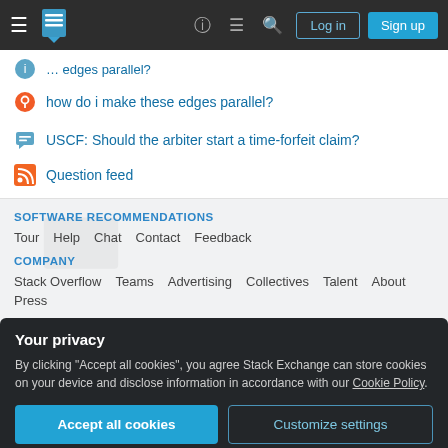Navigation bar with hamburger menu, Stack Exchange logo, icons, Log in and Sign up buttons
how do i make these edges parallel?
USCF: Should the arbiter start a time-forfeit claim?
Question feed
SOFTWARE RECOMMENDATIONS
Tour  Help  Chat  Contact  Feedback
COMPANY
Stack Overflow   Teams   Advertising   Collectives   Talent   About   Press
Your privacy
By clicking "Accept all cookies", you agree Stack Exchange can store cookies on your device and disclose information in accordance with our Cookie Policy.
Accept all cookies   Customize settings
Blog   Facebook   Twitter   LinkedIn   Instagram